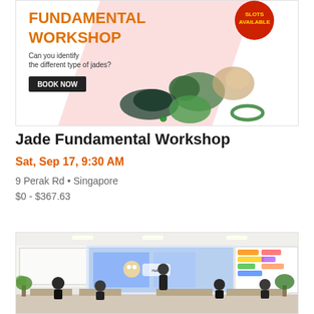[Figure (illustration): Jade Fundamental Workshop promotional banner with orange text 'FUNDAMENTAL WORKSHOP', pink diagonal stripe, jade stones and jewelry, red circular badge saying 'SLOTS AVAILABLE', and a black 'BOOK NOW' button. Text reads 'Can you identify the different type of jades?']
Jade Fundamental Workshop
Sat, Sep 17, 9:30 AM
9 Perak Rd • Singapore
$0 - $367.63
[Figure (photo): Classroom photo showing children and a standing instructor in front of a projected screen displaying a colorful educational game, with another screen showing coding software on the right side.]